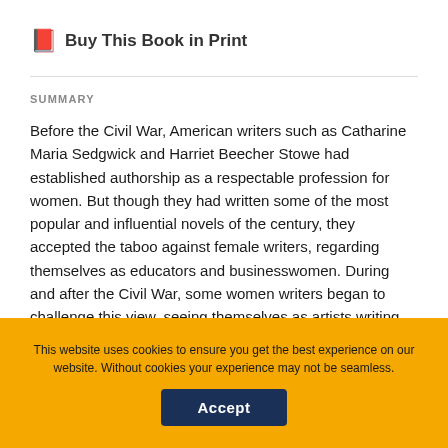Buy This Book in Print
SUMMARY
Before the Civil War, American writers such as Catharine Maria Sedgwick and Harriet Beecher Stowe had established authorship as a respectable profession for women. But though they had written some of the most popular and influential novels of the century, they accepted the taboo against female writers, regarding themselves as educators and businesswomen. During and after the Civil War, some women writers began to challenge this view, seeing themselves as artists writing for themselves and for posterity. Writing for the most literarily inclined...
This website uses cookies to ensure you get the best experience on our website. Without cookies your experience may not be seamless.
Accept